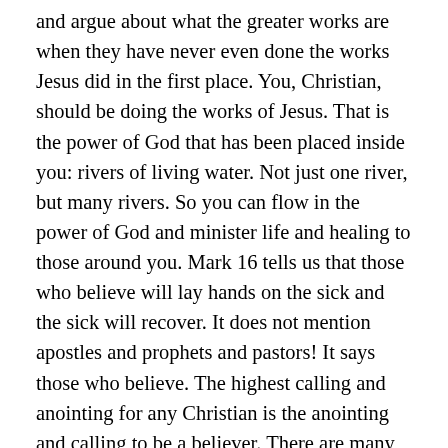and argue about what the greater works are when they have never even done the works Jesus did in the first place. You, Christian, should be doing the works of Jesus. That is the power of God that has been placed inside you: rivers of living water. Not just one river, but many rivers. So you can flow in the power of God and minister life and healing to those around you. Mark 16 tells us that those who believe will lay hands on the sick and the sick will recover. It does not mention apostles and prophets and pastors! It says those who believe. The highest calling and anointing for any Christian is the anointing and calling to be a believer. There are many people who would call themselves (and it is them calling themselves, because God certainly has not done it) apostles and prophets, and yet they have never even once functioned in the anointing of the believer. They have never laid their hands on the sick and seen them recover! It is time the body of Christ to stop arguing over titles and become a...